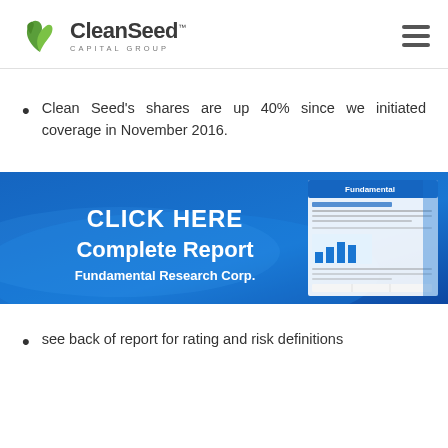CleanSeed CAPITAL GROUP
Clean Seed's shares are up 40% since we initiated coverage in November 2016.
[Figure (infographic): Blue banner with text: CLICK HERE Complete Report Fundamental Research Corp. with a thumbnail of a financial report document on the right side.]
see back of report for rating and risk definitions